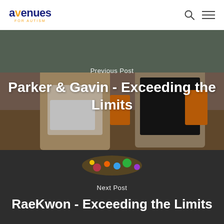avenues FOR AUTISM
[Figure (photo): Two young boys in a classroom setting appearing to play with materials, one in a white shirt and one in a black Minecraft shirt]
Previous Post
Parker & Gavin - Exceeding the Limits
[Figure (photo): Partial image strip showing colorful lights/toys on dark background]
Next Post
RaeKwon - Exceeding the Limits